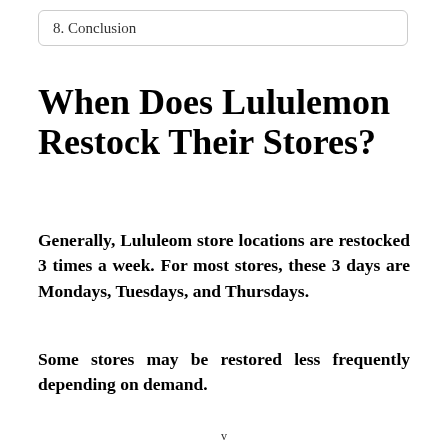8. Conclusion
When Does Lululemon Restock Their Stores?
Generally, Lululeom store locations are restocked 3 times a week. For most stores, these 3 days are Mondays, Tuesdays, and Thursdays.
Some stores may be restored less frequently depending on demand.
v